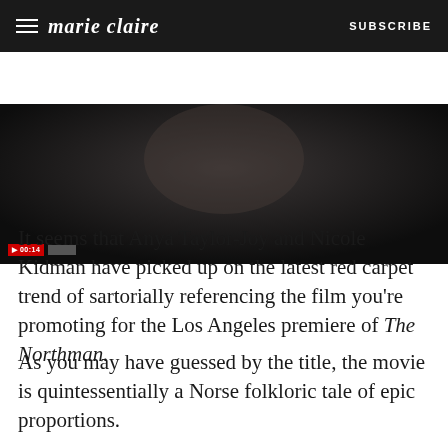marie claire  SUBSCRIBE
[Figure (screenshot): Dark video thumbnail showing a dimly lit scene, with a red badge and grey badge overlay in the bottom left corner]
It seems that Anya Taylor-Joy and Nicole Kidman have picked up on the latest red carpet trend of sartorially referencing the film you're promoting for the Los Angeles premiere of The Northman.
As you may have guessed by the title, the movie is quintessentially a Norse folkloric tale of epic proportions.